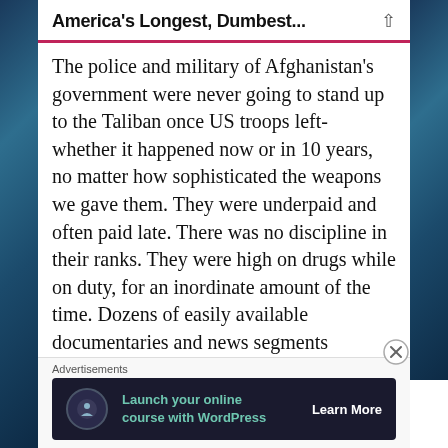America's Longest, Dumbest...
The police and military of Afghanistan's government were never going to stand up to the Taliban once US troops left- whether it happened now or in 10 years, no matter how sophisticated the weapons we gave them. They were underpaid and often paid late. There was no discipline in their ranks. They were high on drugs while on duty, for an inordinate amount of the time. Dozens of easily available documentaries and news segments
Advertisements
[Figure (screenshot): Advertisement banner: Launch your online course with WordPress. Learn More button. Dark background with teal text and white circular icon.]